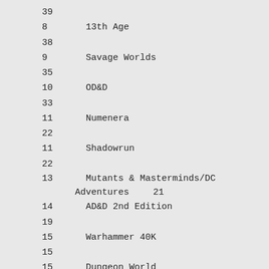39
8        13th Age
38
9        Savage Worlds
35
10       OD&D
33
11       Numenera
22
11       Shadowrun
22
13       Mutants & Masterminds/DC Adventures       21
14       AD&D 2nd Edition
19
15       Warhammer 40K
15
15       Dungeon World